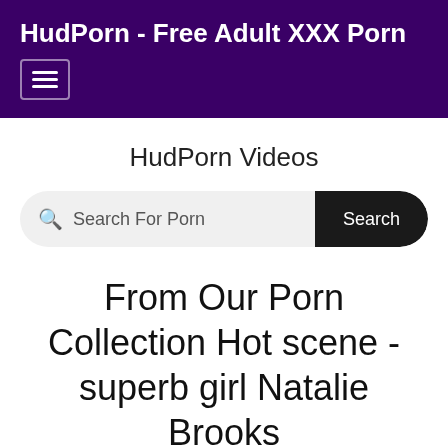HudPorn - Free Adult XXX Porn
HudPorn Videos
Search For Porn
From Our Porn Collection Hot scene - superb girl Natalie Brooks